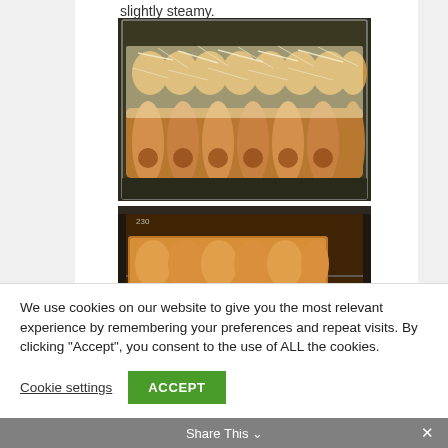slightly steamy.
[Figure (photo): Enchiladas topped with shredded cheese arranged in a glass baking dish, viewed from above.]
[Figure (photo): Enchiladas baking in an oven, viewed from the front with oven door open showing golden-brown tops.]
We use cookies on our website to give you the most relevant experience by remembering your preferences and repeat visits. By clicking "Accept", you consent to the use of ALL the cookies.
Cookie settings
ACCEPT
Share This ∨
✕